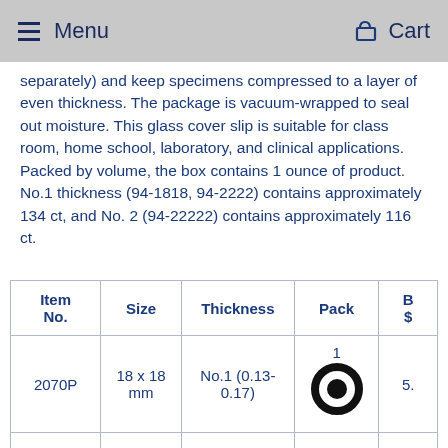Menu   Cart
separately) and keep specimens compressed to a layer of even thickness. The package is vacuum-wrapped to seal out moisture. This glass cover slip is suitable for class room, home school, laboratory, and clinical applications. Packed by volume, the box contains 1 ounce of product. No.1 thickness (94-1818, 94-2222) contains approximately 134 ct, and No. 2 (94-22222) contains approximately 116 ct.
| Item No. | Size | Thickness | Pack | B $ |
| --- | --- | --- | --- | --- |
| 2070P | 18 x 18 mm | No.1 (0.13-0.17) | 1 | 5. |